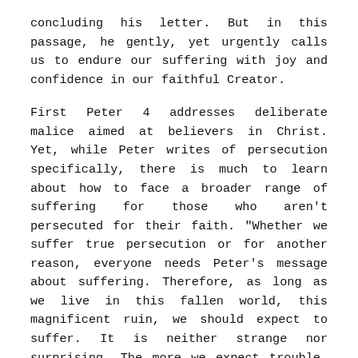concluding his letter. But in this passage, he gently, yet urgently calls us to endure our suffering with joy and confidence in our faithful Creator.
First Peter 4 addresses deliberate malice aimed at believers in Christ. Yet, while Peter writes of persecution specifically, there is much to learn about how to face a broader range of suffering for those who aren't persecuted for their faith. "Whether we suffer true persecution or for another reason, everyone needs Peter's message about suffering. Therefore, as long as we live in this fallen world, this magnificent ruin, we should expect to suffer. It is neither strange nor surprising. The more we expect trouble, the better we will be prepared for it"[1]